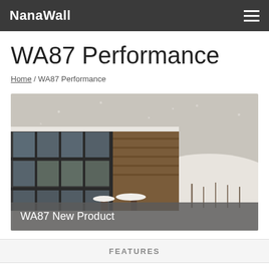NanaWall
WA87 Performance
Home / WA87 Performance
[Figure (photo): Exterior photo of a log cabin with large dark-framed glass wall panels, a snow-covered deck, and a snowy hillside landscape in the background]
WA87 New Product
FEATURES
PERFORMANCE